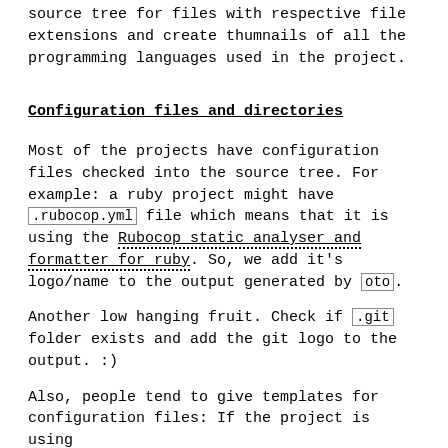source tree for files with respective file extensions and create thumnails of all the programming languages used in the project.
Configuration files and directories
Most of the projects have configuration files checked into the source tree. For example: a ruby project might have .rubocop.yml file which means that it is using the Rubocop static analyser and formatter for ruby. So, we add it's logo/name to the output generated by oto.
Another low hanging fruit. Check if .git folder exists and add the git logo to the output. :)
Also, people tend to give templates for configuration files: If the project is using